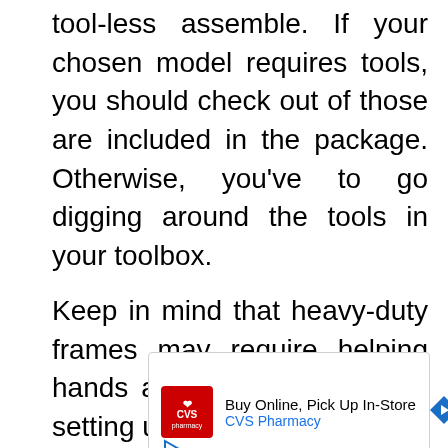tool-less assemble. If your chosen model requires tools, you should check out of those are included in the package. Otherwise, you've to go digging around the tools in your toolbox.
Keep in mind that heavy-duty frames may require helping hands and extended time for setting up.
[Figure (other): CVS Pharmacy advertisement: 'Buy Online, Pick Up In-Store' with CVS logo, navigation arrow icon, and play button]